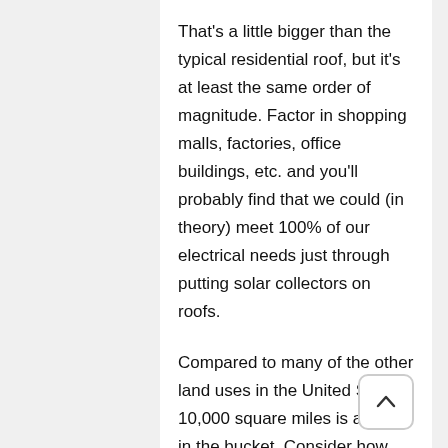That's a little bigger than the typical residential roof, but it's at least the same order of magnitude. Factor in shopping malls, factories, office buildings, etc. and you'll probably find that we could (in theory) meet 100% of our electrical needs just through putting solar collectors on roofs.
Compared to many of the other land uses in the United States, 10,000 square miles is a drop in the bucket. Consider how much land is devoted to crops, grazing livestock, etc...
10,000 square miles is 6.4 million acres. In comparison, according to the USDA, in the